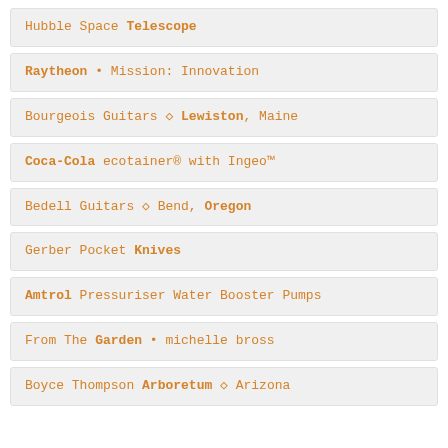Hubble Space Telescope
Raytheon • Mission: Innovation
Bourgeois Guitars ◇ Lewiston, Maine
Coca-Cola ecotainer® with Ingeo™
Bedell Guitars ◇ Bend, Oregon
Gerber Pocket Knives
Amtrol Pressuriser Water Booster Pumps
From The Garden • michelle bross
Boyce Thompson Arboretum ◇ Arizona